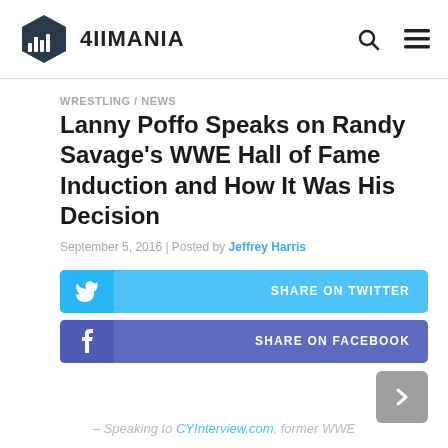4IIMANIA
WRESTLING / NEWS
Lanny Poffo Speaks on Randy Savage's WWE Hall of Fame Induction and How It Was His Decision
September 5, 2016 | Posted by Jeffrey Harris
SHARE ON TWITTER
SHARE ON FACEBOOK
– Speaking to CYInterview.com, former WWE